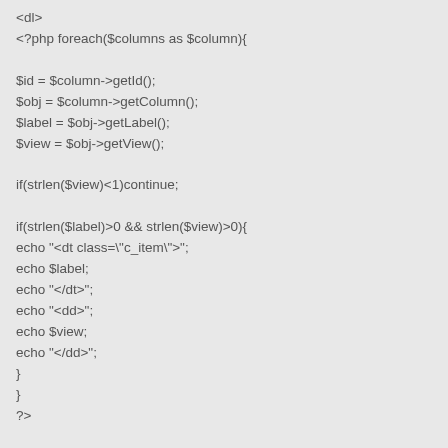<dl>
<?php foreach($columns as $column){

$id = $column->getId();
$obj = $column->getColumn();
$label = $obj->getLabel();
$view = $obj->getView();

if(strlen($view)<1)continue;

if(strlen($label)>0 && strlen($view)>0){
echo "<dt class=\"c_item\">";
echo $label;
echo "</dt>";
echo "<dd>";
echo $view;
echo "</dd>";
}
}
?>

<?php
echo $hidden_forms;
?>
</dl>